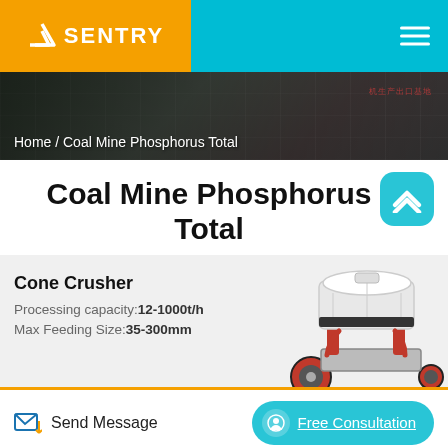SENTRY
Home / Coal Mine Phosphorus Total
Coal Mine Phosphorus Total
Cone Crusher
Processing capacity:12-1000t/h
Max Feeding Size:35-300mm
[Figure (photo): Cone crusher machine with white and red mechanical components]
Send Message
Free Consultation